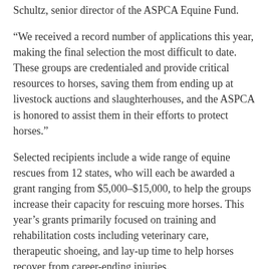Schultz, senior director of the ASPCA Equine Fund.
“We received a record number of applications this year, making the final selection the most difficult to date. These groups are credentialed and provide critical resources to horses, saving them from ending up at livestock auctions and slaughterhouses, and the ASPCA is honored to assist them in their efforts to protect horses.”
Selected recipients include a wide range of equine rescues from 12 states, who will each be awarded a grant ranging from $5,000–$15,000, to help the groups increase their capacity for rescuing more horses. This year’s grants primarily focused on training and rehabilitation costs including veterinary care, therapeutic shoeing, and lay-up time to help horses recover from career-ending injuries.
“I’m excited that the ASPCA sees the need and is willing to help New Vocations rehabilitate the retired Standardbreds that need it,” said Dot Morgan, executive director of New Vocations. “Stressed and injured racehorses need time to heal. However, time is expensive regardless of who is paying the tab. This ASPCA grant allows New Vocations to give…